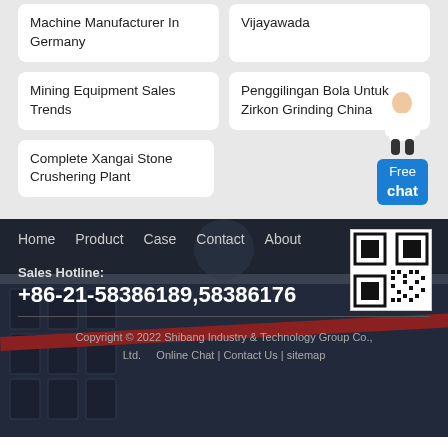Machine Manufacturer In Germany
Vijayawada
Mining Equipment Sales Trends
Penggilingan Bola Untuk Zirkon Grinding China
Complete Xangai Stone Crushering Plant
Free chat
Home   Product   Case   Contact   About
[Figure (other): QR code for website]
Sales Hotline:
+86-21-58386189,58386176
Copyright © 2022 Shibang Industry & Technology Group Co., Ltd.   Online Chat | Contact Us | sitemap